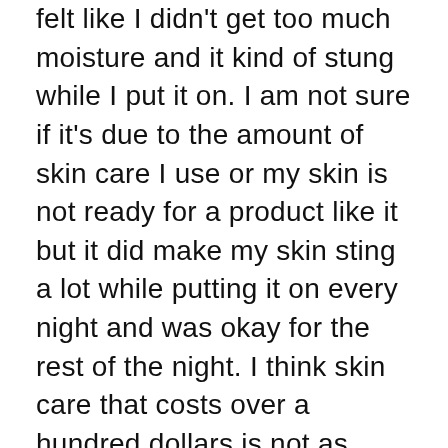felt like I didn't get too much moisture and it kind of stung while I put it on. I am not sure if it's due to the amount of skin care I use or my skin is not ready for a product like it but it did make my skin sting a lot while putting it on every night and was okay for the rest of the night. I think skin care that costs over a hundred dollars is not as cracked up to be when people keep on saying the most money you should be spending is on skin care alone. I'm sorry but I spend drugstore prices and $25 for one moisturizer and I'm good all around! Plus, all the sheet mask packs I get from Ipsy are around $15 so I don't have to spend so much. I did enjoy the other three items though, people did like the look I create with the Vintage Dawn pallet from Ace since I was doing a pretty neutral look with it alongside the Trip for Two Duo from Wonder and the Too Faced Highlighter. I hope that they keep doing the same idea for more boxes like this because it works!